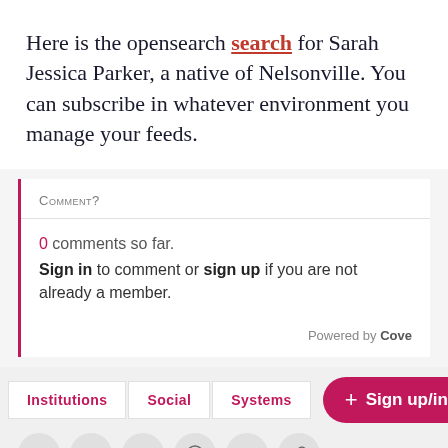Here is the opensearch search for Sarah Jessica Parker, a native of Nelsonville. You can subscribe in whatever environment you manage your feeds.
Comment?
0 comments so far.
Sign in to comment or sign up if you are not already a member.
Powered by Cove
Institutions   Social   Systems
+ Sign up/in